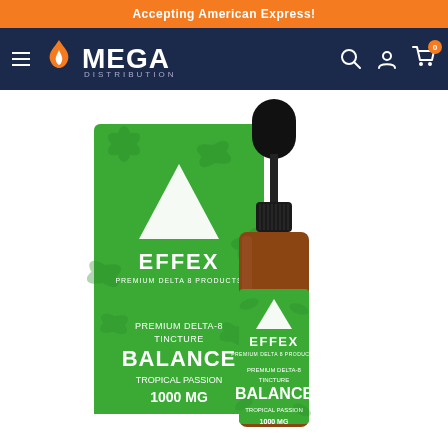Accepting American Express!
[Figure (logo): Mega Distribution logo with flame icon and navigation icons (hamburger menu, search, account, cart with 0 badge) on a navy blue header bar]
[Figure (photo): Effex Premium Delta 8 Balance Tropical Passion Tincture 1000mg product photo showing a green box with cannabis leaf design and white triangle Effex logo alongside an amber dropper bottle with matching green label reading BALANCE, PREMIUM DELTA-8 TINCTURE, TROPICAL PASSION, 1000MG]